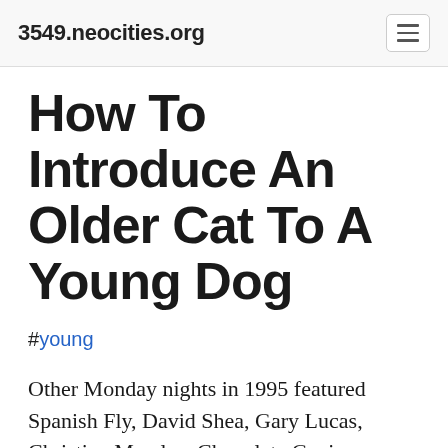3549.neocities.org
How To Introduce An Older Cat To A Young Dog
#young
Other Monday nights in 1995 featured Spanish Fly, David Shea, Gary Lucas, Christian Marclay, Chocolate Genius, Douce Gimlet, Beekeeper, Cat Power, William Hooker, White Out, Rudolph Grey, Ram Umbus, Smoke, Sleepyhead, Maggie Estep, Queen Esther, Two Dollar Guitar, Harvey